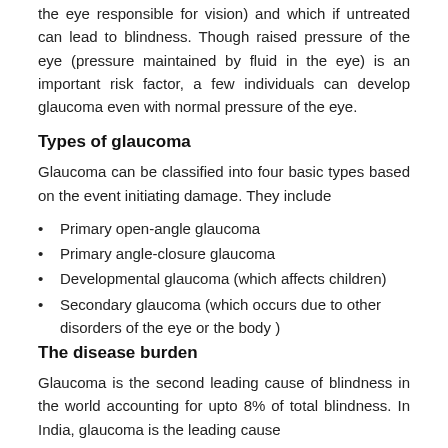the eye responsible for vision) and which if untreated can lead to blindness. Though raised pressure of the eye (pressure maintained by fluid in the eye) is an important risk factor, a few individuals can develop glaucoma even with normal pressure of the eye.
Types of glaucoma
Glaucoma can be classified into four basic types based on the event initiating damage. They include
Primary open-angle glaucoma
Primary angle-closure glaucoma
Developmental glaucoma (which affects children)
Secondary glaucoma (which occurs due to other disorders of the eye or the body )
The disease burden
Glaucoma is the second leading cause of blindness in the world accounting for upto 8% of total blindness. In India, glaucoma is the leading cause